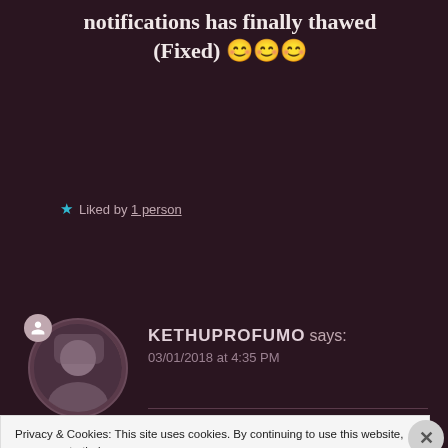notifications has finally thawed (Fixed) 😊😊😊
★ Liked by 1 person
KETHUPROFUMO says: 03/01/2018 at 4:35 PM
Privacy & Cookies: This site uses cookies. By continuing to use this website, you agree to their use.
To find out more, including how to control cookies, see here: Cookie Policy
Close and accept